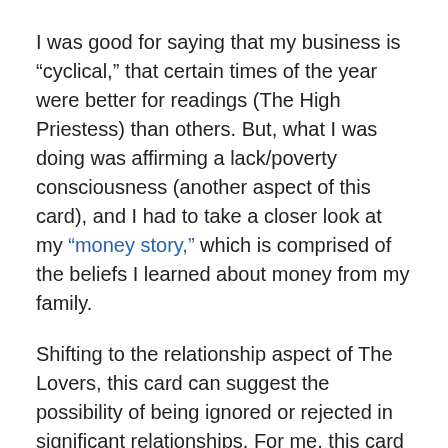I was good for saying that my business is “cyclical,” that certain times of the year were better for readings (The High Priestess) than others. But, what I was doing was affirming a lack/poverty consciousness (another aspect of this card), and I had to take a closer look at my “money story,” which is comprised of the beliefs I learned about money from my family.
Shifting to the relationship aspect of The Lovers, this card can suggest the possibility of being ignored or rejected in significant relationships. For me, this card can suggest being given the “cold shoulder” or being “frozen out,” coming off the heels of Ace of Winter.
If that is true for you, then you’re being asked to consider whether or not you believe that you deserve such treatment... [Ace of Autumn excerpt continues]